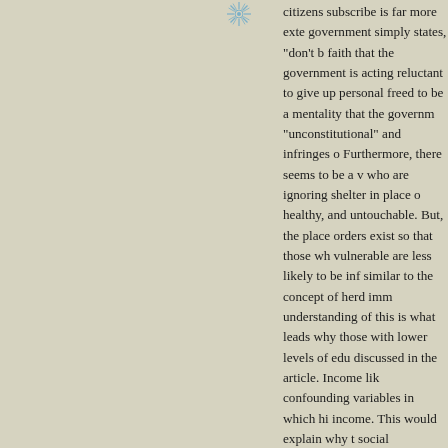[Figure (logo): Decorative institutional logo/seal with radiating lines, partially visible at top right]
citizens subscribe is far more exte government simply states, "don't b faith that the government is acting reluctant to give up personal freed to be a mentality that the governm "unconstitutional" and infringes o Furthermore, there seems to be a v who are ignoring shelter in place o healthy, and untouchable. But, the place orders exist so that those wh vulnerable are less likely to be inf similar to the concept of herd imm understanding of this is what leads why those with lower levels of edu discussed in the article. Income lik confounding variables in which hi income. This would explain why t social distancing.

On a similar note, studies have fou contracting the virus as well as hi discussed above, environmental ju latter, but seeing research on this v

An interesting article on COVID-